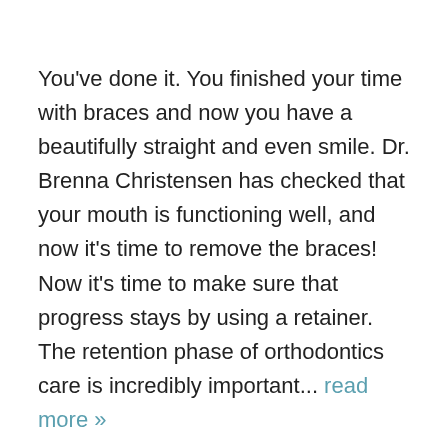You've done it. You finished your time with braces and now you have a beautifully straight and even smile. Dr. Brenna Christensen has checked that your mouth is functioning well, and now it's time to remove the braces! Now it's time to make sure that progress stays by using a retainer. The retention phase of orthodontics care is incredibly important... read more »